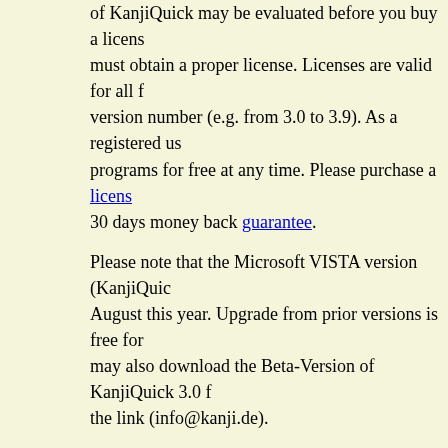of KanjiQuick may be evaluated before you buy a license. must obtain a proper license. Licenses are valid for all future version number (e.g. from 3.0 to 3.9). As a registered user, programs for free at any time. Please purchase a license with 30 days money back guarantee.
Please note that the Microsoft VISTA version (KanjiQuick) August this year. Upgrade from prior versions is free for may also download the Beta-Version of KanjiQuick 3.0 from the link (info@kanji.de).
To run the current MS Windows XP version on a VISTA steps (you must be logged in as administrator):
Unzip this file to the system32 folder in your Windows directory
Right click the KanjiQuick download package and select "run a
In the installation process (large blue window) change the default Files\Kanjiware\Kanjiquick\) to your user folder, e.g. "C:\Users Username\".
See screenshots (version 3.0) for more detailed information on KanjiQuick version 2.2. is here.
Download KanjiQuick 2.2. Full Japanese-English Version. Dictionary with all data of the big Hadamitzky/Spahn dictionary 47.000 kanji compounds with readings, translations and animated display, Transer module, handwriting IME input, editing module FREE EDICT READER (Japanese English dictionary)